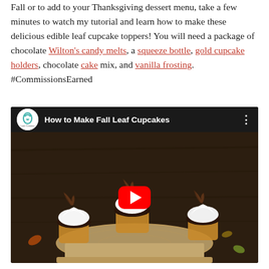Fall or to add to your Thanksgiving dessert menu, take a few minutes to watch my tutorial and learn how to make these delicious edible leaf cupcake toppers! You will need a package of chocolate Wilton's candy melts, a squeeze bottle, gold cupcake holders, chocolate cake mix, and vanilla frosting. #CommissionsEarned
[Figure (screenshot): YouTube video thumbnail showing 'How to Make Fall Leaf Cupcakes' with chocolate cupcakes topped with white frosting and chocolate leaf decorations on a wooden stand. Red YouTube play button in center.]